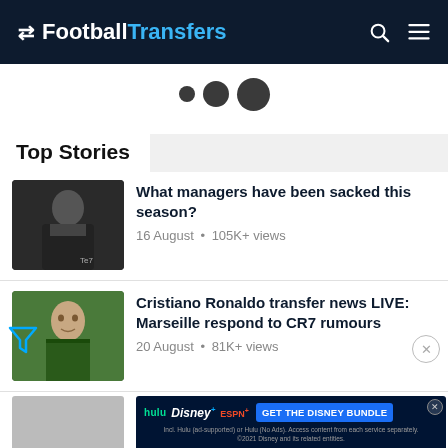FootballTransfers
[Figure (other): Three loading dots (small, medium, large)]
Top Stories
[Figure (photo): Manager in black jacket thumbnail]
What managers have been sacked this season? 16 August • 105K+ views
[Figure (photo): Cristiano Ronaldo in green goalkeeper kit thumbnail]
Cristiano Ronaldo transfer news LIVE: Marseille respond to CR7 rumours 20 August • 81K+ views
[Figure (other): Disney Bundle advertisement banner — hulu Disney+ ESPN+ GET THE DISNEY BUNDLE. Incl. Hulu (ad-supported) or Hulu (No Ads). Access content from each service separately. ©2021 Disney and its related entities.]